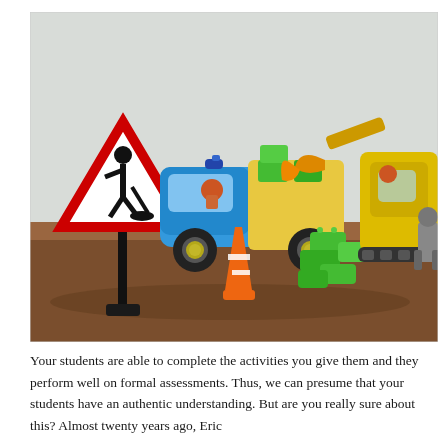[Figure (photo): A photo of colorful LEGO DUPLO construction toys on a wooden table: a blue truck with a small orange-helmeted figure, a yellow excavator with figures, green LEGO bricks, an orange traffic cone, and a road-work warning sign (red triangle with black construction worker symbol on a black post stand). The background is a light gray wall.]
Your students are able to complete the activities you give them and they perform well on formal assessments. Thus, we can presume that your students have an authentic understanding. But are you really sure about this? Almost twenty years ago, Eric